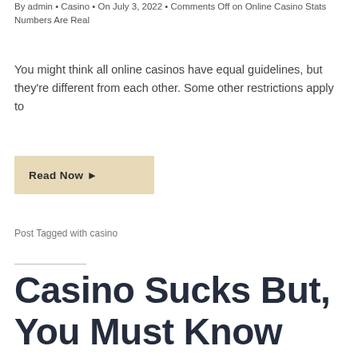By admin • Casino • On July 3, 2022 • Comments Off on Online Casino Stats Numbers Are Real
You might think all online casinos have equal guidelines, but they're different from each other. Some other restrictions apply to
Read Now ▶
Post Tagged with casino
Casino Sucks But, You Must Know More About It Than That